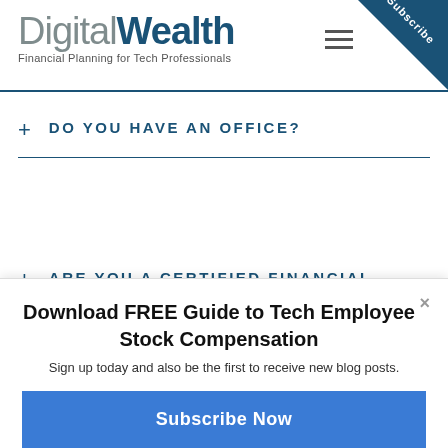DigitalWealth — Financial Planning for Tech Professionals
+ DO YOU HAVE AN OFFICE?
+ ARE YOU A CERTIFIED FINANCIAL PLANNER™?
Download FREE Guide to Tech Employee Stock Compensation
Sign up today and also be the first to receive new blog posts.
Subscribe Now